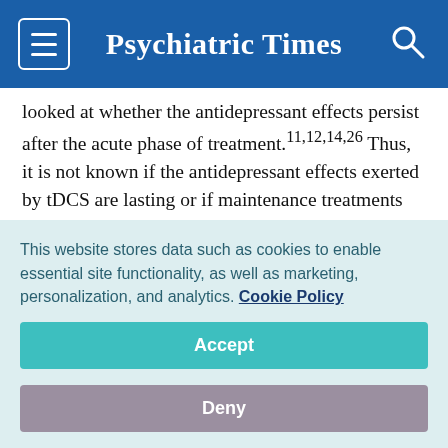Psychiatric Times
looked at whether the antidepressant effects persist after the acute phase of treatment.11,12,14,26 Thus, it is not known if the antidepressant effects exerted by tDCS are lasting or if maintenance treatments are necessary.
There is still a lack of consensus on the placement of electrodes that leads to optimal treatment outcomes, although there have been reductions in depressive symptoms with anodal stimulation of the left dorsolateral
This website stores data such as cookies to enable essential site functionality, as well as marketing, personalization, and analytics. Cookie Policy
Accept
Deny